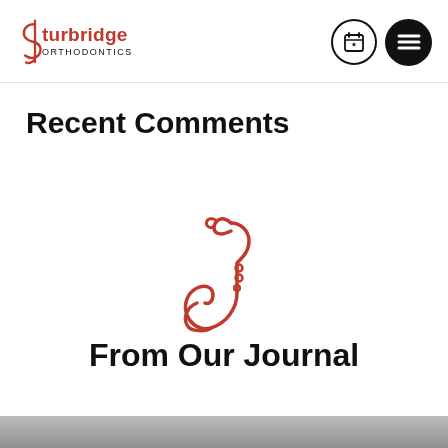Sturbridge Orthodontics
Recent Comments
[Figure (illustration): Red saxophone icon, line art style]
From Our Journal